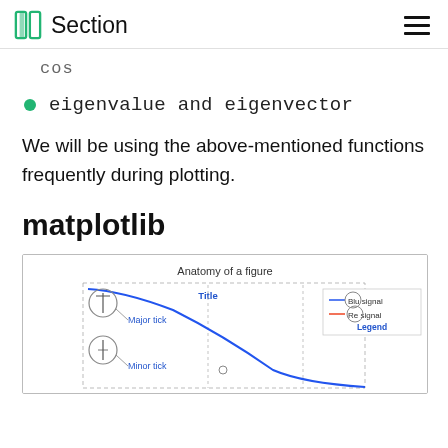Section
cos
eigenvalue and eigenvector
We will be using the above-mentioned functions frequently during plotting.
matplotlib
[Figure (illustration): Anatomy of a matplotlib figure diagram showing title, major tick, minor tick, legend (Blue signal, Red signal) labels with callout circles and a blue descending curve plotted.]